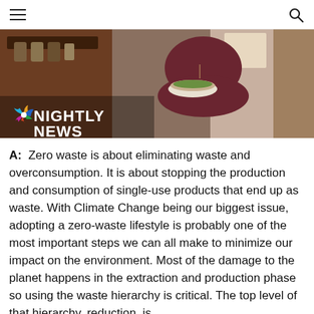Navigation header with hamburger menu and search icon
[Figure (photo): NBC Nightly News branded thumbnail showing a woman holding a bowl of food in a kitchen, with the NBC Nightly News logo in the bottom left corner]
A: Zero waste is about eliminating waste and overconsumption. It is about stopping the production and consumption of single-use products that end up as waste. With Climate Change being our biggest issue, adopting a zero-waste lifestyle is probably one of the most important steps we can all make to minimize our impact on the environment. Most of the damage to the planet happens in the extraction and production phase so using the waste hierarchy is critical. The top level of that hierarchy, reduction, is